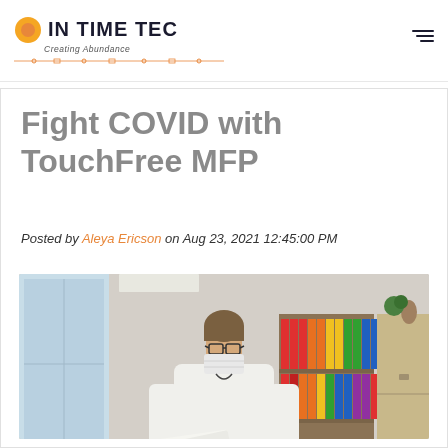IN TIME TEC — Creating Abundance (logo)
Fight COVID with TouchFree MFP
Posted by Aleya Ericson on Aug 23, 2021 12:45:00 PM
[Figure (photo): Man wearing glasses and a face mask in white long-sleeve shirt holding papers at an MFP/printer in an office, with binders on shelves visible in the background]